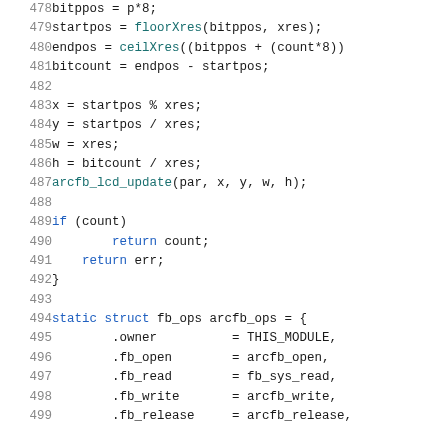Source code listing lines 478–499, C programming language kernel framebuffer driver code
478	bitppos = p*8;
479	startpos = floorXres(bitppos, xres);
480	endpos = ceilXres((bitppos + (count*8))
481	bitcount = endpos - startpos;
482
483	x = startpos % xres;
484	y = startpos / xres;
485	w = xres;
486	h = bitcount / xres;
487	arcfb_lcd_update(par, x, y, w, h);
488
489	if (count)
490		return count;
491	return err;
492	}
493
494	static struct fb_ops arcfb_ops = {
495		.owner          = THIS_MODULE,
496		.fb_open        = arcfb_open,
497		.fb_read        = fb_sys_read,
498		.fb_write       = arcfb_write,
499		.fb_release     = arcfb_release,